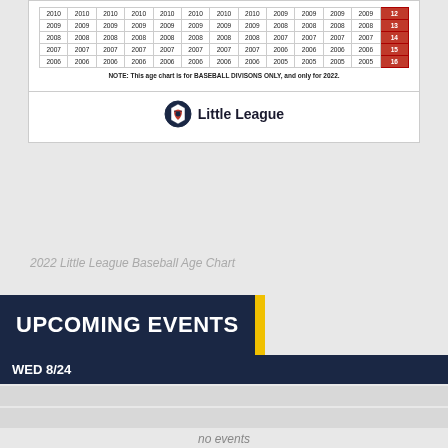| 2010 | 2010 | 2010 | 2010 | 2010 | 2010 | 2010 | 2010 | 2009 | 2009 | 2009 | 2009 | 12 |
| 2009 | 2009 | 2009 | 2009 | 2009 | 2009 | 2009 | 2009 | 2008 | 2008 | 2008 | 2008 | 13 |
| 2008 | 2008 | 2008 | 2008 | 2008 | 2008 | 2008 | 2008 | 2007 | 2007 | 2007 | 2007 | 14 |
| 2007 | 2007 | 2007 | 2007 | 2007 | 2007 | 2007 | 2007 | 2006 | 2006 | 2006 | 2006 | 15 |
| 2006 | 2006 | 2006 | 2006 | 2006 | 2006 | 2006 | 2006 | 2005 | 2005 | 2005 | 2005 | 16 |
NOTE: This age chart is for BASEBALL DIVISONS ONLY, and only for 2022.
[Figure (logo): Little League logo with shield icon and text]
2022 Little League Baseball Age Chart
UPCOMING EVENTS
WED 8/24
no events